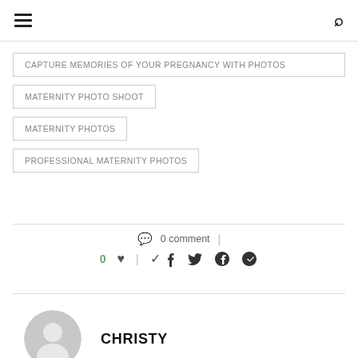Navigation bar with hamburger menu and search icon
CAPTURE MEMORIES OF YOUR PREGNANCY WITH PHOTOS
MATERNITY PHOTO SHOOT
MATERNITY PHOTOS
PROFESSIONAL MATERNITY PHOTOS
0 comment
0 ♥
CHRISTY